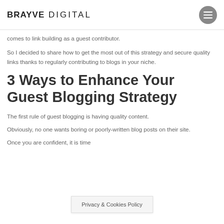BRAYVE DIGITAL
comes to link building as a guest contributor.
So I decided to share how to get the most out of this strategy and secure quality links thanks to regularly contributing to blogs in your niche.
3 Ways to Enhance Your Guest Blogging Strategy
The first rule of guest blogging is having quality content.
Obviously, no one wants boring or poorly-written blog posts on their site.
Once you are confident, it is time
Privacy & Cookies Policy